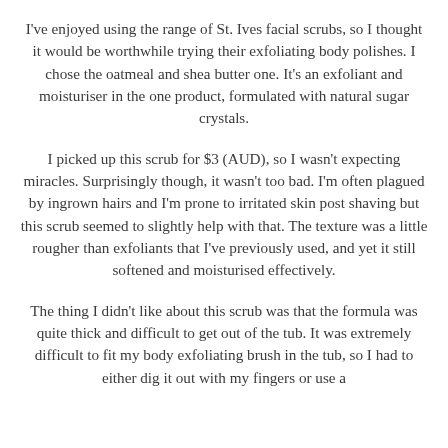I've enjoyed using the range of St. Ives facial scrubs, so I thought it would be worthwhile trying their exfoliating body polishes. I chose the oatmeal and shea butter one. It's an exfoliant and moisturiser in the one product, formulated with natural sugar crystals.
I picked up this scrub for $3 (AUD), so I wasn't expecting miracles. Surprisingly though, it wasn't too bad. I'm often plagued by ingrown hairs and I'm prone to irritated skin post shaving but this scrub seemed to slightly help with that. The texture was a little rougher than exfoliants that I've previously used, and yet it still softened and moisturised effectively.
The thing I didn't like about this scrub was that the formula was quite thick and difficult to get out of the tub. It was extremely difficult to fit my body exfoliating brush in the tub, so I had to either dig it out with my fingers or use a